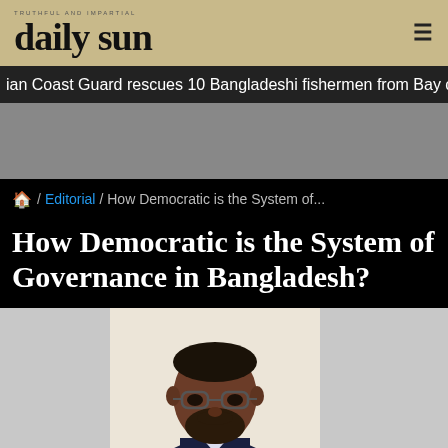daily sun
ian Coast Guard rescues 10 Bangladeshi fishermen from Bay of Benga
How Democratic is the System of Governance in Bangladesh?
/ Editorial / How Democratic is the System of...
[Figure (photo): Author photo: man with glasses wearing a dark suit jacket, dark beard and hair]